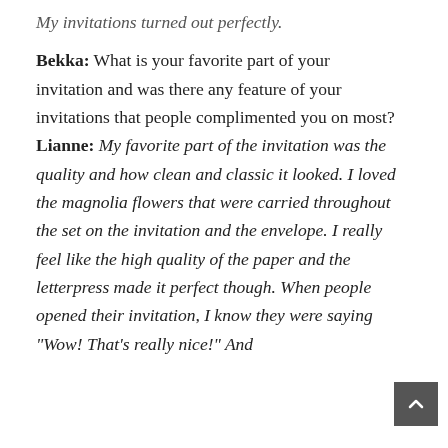My invitations turned out perfectly.
Bekka: What is your favorite part of your invitation and was there any feature of your invitations that people complimented you on most?
Lianne: My favorite part of the invitation was the quality and how clean and classic it looked. I loved the magnolia flowers that were carried throughout the set on the invitation and the envelope. I really feel like the high quality of the paper and the letterpress made it perfect though. When people opened their invitation, I know they were saying "Wow! That's really nice!" And